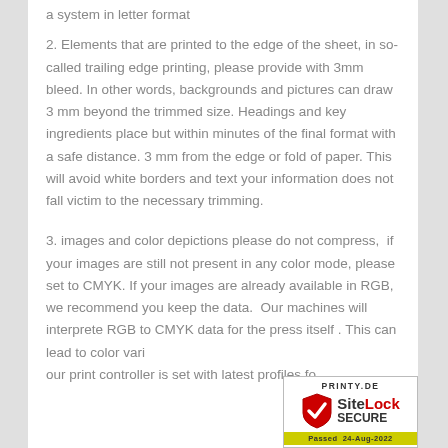a system in letter format
2. Elements that are printed to the edge of the sheet, in so-called trailing edge printing, please provide with 3mm bleed. In other words, backgrounds and pictures can draw 3 mm beyond the trimmed size. Headings and key ingredients place but within minutes of the final format with a safe distance. 3 mm from the edge or fold of paper. This will avoid white borders and text your information does not fall victim to the necessary trimming.
3. images and color depictions please do not compress,  if your images are still not present in any color mode, please set to CMYK. If your images are already available in RGB, we recommend you keep the data.  Our machines will interprete RGB to CMYK data for the press itself . This can lead to color vari... our print controller is set with latest profiles fo...
[Figure (logo): SiteLock SECURE badge with PRINTY.DE label and Passed 24-Aug-2022 banner]